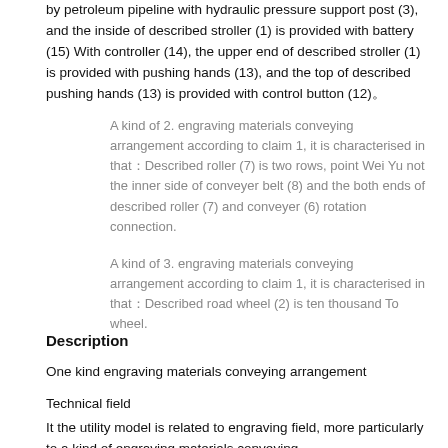by petroleum pipeline with hydraulic pressure support post (3), and the inside of described stroller (1) is provided with battery (15) With controller (14), the upper end of described stroller (1) is provided with pushing hands (13), and the top of described pushing hands (13) is provided with control button (12)。
A kind of 2. engraving materials conveying arrangement according to claim 1, it is characterised in that：Described roller (7) is two rows, point Wei Yu not the inner side of conveyer belt (8) and the both ends of described roller (7) and conveyer (6) rotation connection.
A kind of 3. engraving materials conveying arrangement according to claim 1, it is characterised in that：Described road wheel (2) is ten thousand To wheel.
Description
One kind engraving materials conveying arrangement
Technical field
It the utility model is related to engraving field, more particularly to a kind of engraving materials conveying